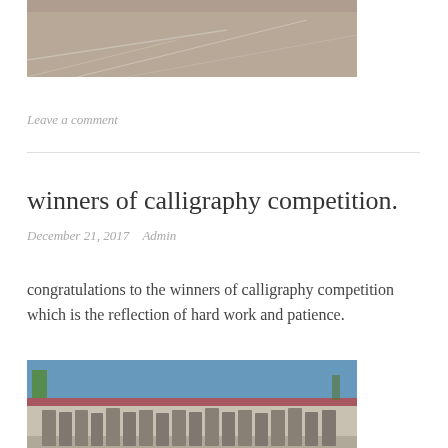[Figure (photo): Top portion of an outdoor photo showing a sandy/dirt ground with lines marked on it, possibly a sports field or track.]
Leave a comment
winners of calligraphy competition.
December 21, 2017   Admin
congratulations to the winners of calligraphy competition which is the reflection of hard work and patience.
[Figure (photo): Group photo of calligraphy competition winners standing in a row outdoors in front of a building with text written on the wall. People are wearing caps and light-colored clothing.]